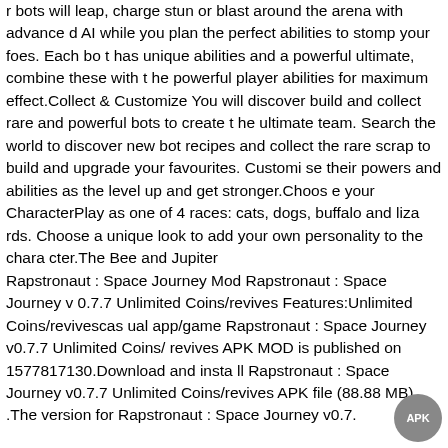r bots will leap, charge stun or blast around the arena with advanced AI while you plan the perfect abilities to stomp your foes. Each bot has unique abilities and a powerful ultimate, combine these with the powerful player abilities for maximum effect.Collect & Customize You will discover build and collect rare and powerful bots to create the ultimate team. Search the world to discover new bot recipes and collect the rare scrap to build and upgrade your favourites. Customise their powers and abilities as the level up and get stronger.Choose your CharacterPlay as one of 4 races: cats, dogs, buffalo and lizards. Choose a unique look to add your own personality to the character.The Bee and Jupiter Rapstronaut : Space Journey Mod Rapstronaut : Space Journey v0.7.7 Unlimited Coins/revives Features:Unlimited Coins/revivescasual app/game Rapstronaut : Space Journey v0.7.7 Unlimited Coins/revives APK MOD is published on 1577817130.Download and install Rapstronaut : Space Journey v0.7.7 Unlimited Coins/revives APK file (88.88 MB) .The version for Rapstronaut : Space Journey v0.7.